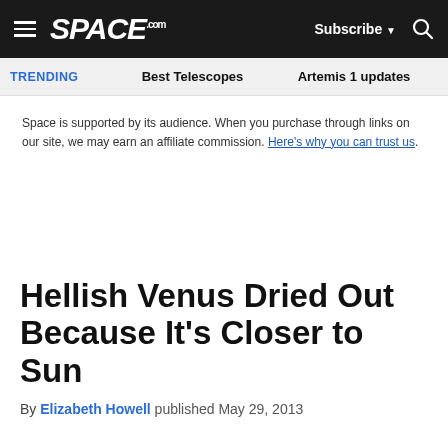SPACE.com — Subscribe — Search
TRENDING   Best Telescopes   Artemis 1 updates
Space is supported by its audience. When you purchase through links on our site, we may earn an affiliate commission. Here's why you can trust us.
Hellish Venus Dried Out Because It's Closer to Sun
By Elizabeth Howell published May 29, 2013